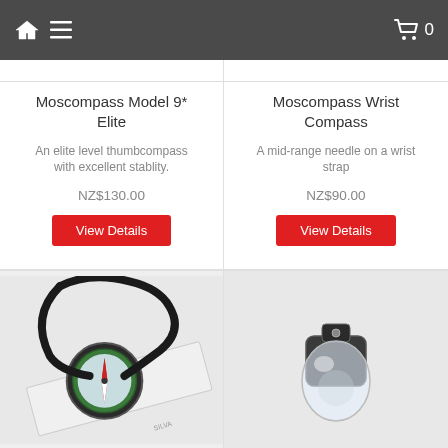Navigation bar with home icon, menu icon, and cart with 0 items
Moscompass Model 9* Elite
An elite level thumbcompass with excellent stablity.
NZ$130.00
View Details
Moscompass Wrist Compass
A mid-range needle on a wrist strap
NZ$90.00
View Details
[Figure (photo): Photo of a Moscompass Model 9* Elite thumbcompass with lanyard and ruler, on white background]
[Figure (photo): Photo of a Moscompass Wrist Compass, dark housing with clear dome, on white background]